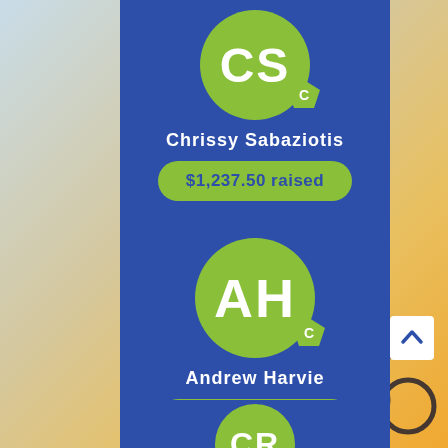[Figure (infographic): Background photo of cyclists silhouetted against a sunset sky]
[Figure (infographic): Fundraiser card for Chrissy Sabaziotis with green avatar showing initials CS, captain badge, name, and $1,237.50 raised pill]
Chrissy Sabaziotis
$1,237.50 raised
[Figure (infographic): Fundraiser card for Andrew Harvie with green avatar showing initials AH, captain badge, name, and $1,175.00 raised pill]
Andrew Harvie
$1,175.00 raised